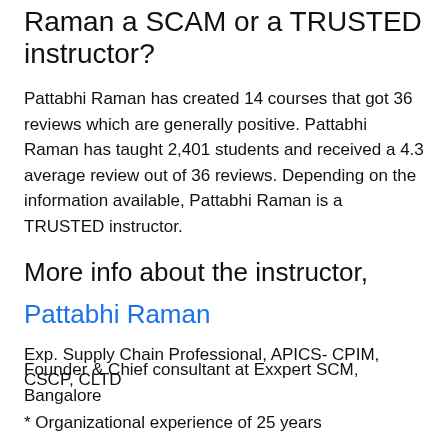Raman a SCAM or a TRUSTED instructor?
Pattabhi Raman has created 14 courses that got 36 reviews which are generally positive. Pattabhi Raman has taught 2,401 students and received a 4.3 average review out of 36 reviews. Depending on the information available, Pattabhi Raman is a TRUSTED instructor.
More info about the instructor,
Pattabhi Raman
Exp. Supply Chain Professional, APICS- CPIM, CSCP, CLTD
Founder & Chief consultant at Exxpert SCM, Bangalore
* Organizational experience of 25 years